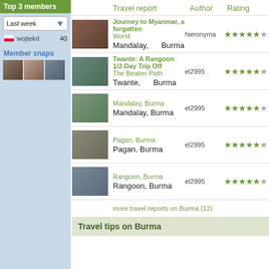Top 3 members
Last week
wojtekd 40
Member snaps
[Figure (photo): Three small member snapshot photos]
| Travel report | Author | Rating |
| --- | --- | --- |
| Journey to Myanmar, a forgotten World — Mandalay, Burma | hieronyma | ★★★★★ |
| Twante: A Rangoon 1/2-Day Trip Off The Beaten Path — Twante, Burma | el2995 | ★★★★★ |
| Mandalay, Burma — Mandalay, Burma | el2995 | ★★★★★ |
| Pagan, Burma — Pagan, Burma | el2995 | ★★★★★ |
| Rangoon, Burma — Rangoon, Burma | el2995 | ★★★★★ |
more travel reports on Burma (12)
Travel tips on Burma